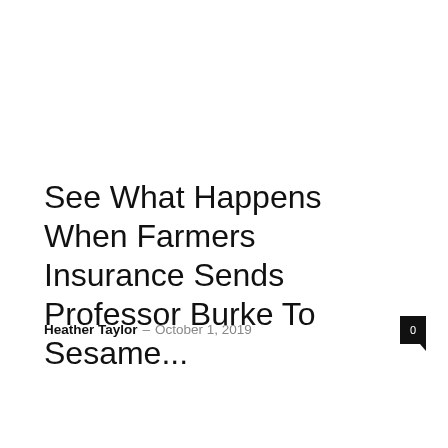See What Happens When Farmers Insurance Sends Professor Burke To Sesame...
Heather Taylor – October 1, 2019